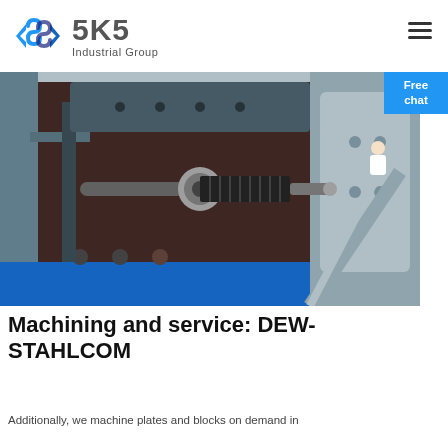[Figure (logo): SKS Industrial Group logo with blue angular S-shaped icon and gray text]
[Figure (photo): Close-up photo of industrial machinery showing a large screw/bolt mechanism with metal housing, bolts, and structural metal components in blue and gray]
Machining and service: DEW-STAHLCOM
Additionally, we machine plates and blocks on demand in